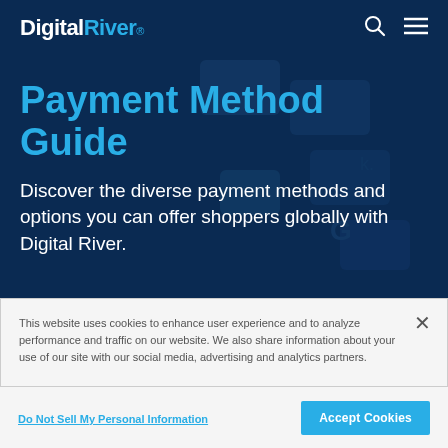Digital River®
Payment Method Guide
Discover the diverse payment methods and options you can offer shoppers globally with Digital River.
This website uses cookies to enhance user experience and to analyze performance and traffic on our website. We also share information about your use of our site with our social media, advertising and analytics partners.
Do Not Sell My Personal Information
Accept Cookies